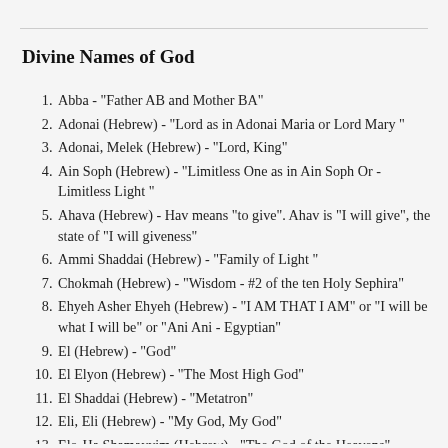Divine Names of God
Abba  - "Father AB and Mother BA"
Adonai (Hebrew) - "Lord as in Adonai Maria or Lord Mary "
Adonai, Melek (Hebrew) - "Lord, King"
Ain Soph (Hebrew) - "Limitless One as in Ain Soph Or - Limitless Light "
Ahava (Hebrew) - Hav means "to give". Ahav is "I will give", the state of "I will giveness"
Ammi Shaddai (Hebrew) - "Family of Light "
Chokmah (Hebrew) - "Wisdom - #2 of the ten Holy Sephira"
Ehyeh Asher Ehyeh (Hebrew) - "I AM THAT I AM" or "I will be what I will be" or "Ani Ani - Egyptian"
El (Hebrew) - "God"
El Elyon (Hebrew) - "The Most High God"
El Shaddai (Hebrew) - "Metatron"
Eli, Eli (Hebrew) - "My God, My God"
Elo-Ha Shamayyim (Hebrew) - "The God of the Heavens"